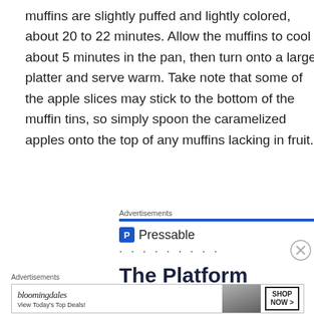muffins are slightly puffed and lightly colored, about 20 to 22 minutes. Allow the muffins to cool about 5 minutes in the pan, then turn onto a large platter and serve warm. Take note that some of the apple slices may stick to the bottom of the muffin tins, so simply spoon the caramelized apples onto the top of any muffins lacking in fruit.
Advertisements
[Figure (screenshot): Pressable advertisement banner with blue header line, Pressable logo with 'P' icon, dots row, and large bold text 'The Platform Where WordPress Works Best']
Advertisements
[Figure (screenshot): Bloomingdale's advertisement banner: logo, 'View Today's Top Deals!', photo of woman with hat, SHOP NOW button]